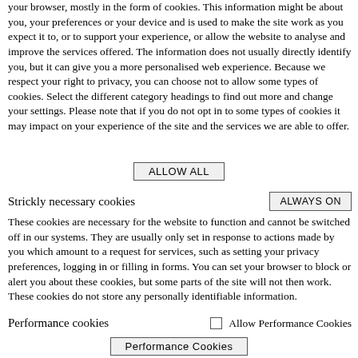your browser, mostly in the form of cookies. This information might be about you, your preferences or your device and is used to make the site work as you expect it to, or to support your experience, or allow the website to analyse and improve the services offered. The information does not usually directly identify you, but it can give you a more personalised web experience. Because we respect your right to privacy, you can choose not to allow some types of cookies. Select the different category headings to find out more and change your settings. Please note that if you do not opt in to some types of cookies it may impact on your experience of the site and the services we are able to offer.
ALLOW ALL
Strickly necessary cookies
ALWAYS ON
These cookies are necessary for the website to function and cannot be switched off in our systems. They are usually only set in response to actions made by you which amount to a request for services, such as setting your privacy preferences, logging in or filling in forms. You can set your browser to block or alert you about these cookies, but some parts of the site will not then work. These cookies do not store any personally identifiable information.
Performance cookies
Allow Performance Cookies
Performance Cookies